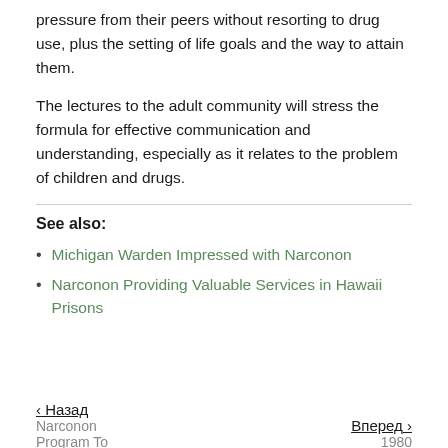pressure from their peers without resorting to drug use, plus the setting of life goals and the way to attain them.
The lectures to the adult community will stress the formula for effective communication and understanding, especially as it relates to the problem of children and drugs.
See also:
Michigan Warden Impressed with Narconon
Narconon Providing Valuable Services in Hawaii Prisons
‹ Назад  Narconon Program To   |   Вперед ›  1980